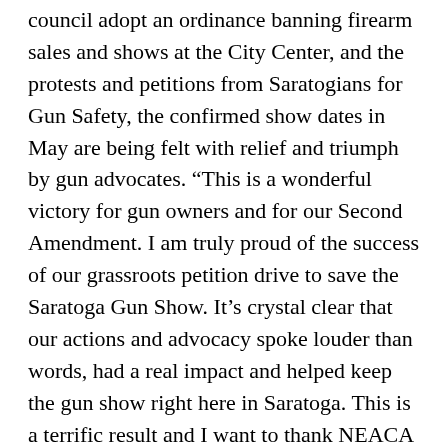council adopt an ordinance banning firearm sales and shows at the City Center, and the protests and petitions from Saratogians for Gun Safety, the confirmed show dates in May are being felt with relief and triumph by gun advocates. “This is a wonderful victory for gun owners and for our Second Amendment. I am truly proud of the success of our grassroots petition drive to save the Saratoga Gun Show. It’s crystal clear that our actions and advocacy spoke louder than words, had a real impact and helped keep the gun show right here in Saratoga. This is a terrific result and I want to thank NEACA President David Petronis, members of the City Center Authority Board and, most of all, the 2,464 people who signed our petition and made this victory possible,” Senator Marchione said. Petronis had nothing but praise for Marchione. “Senator Kathy Marchione proved herself a true patriot who delivered real results for gun owners. While it’s sad that some anti-Second Amendment politicians in the City did everything they could to try to drive away our show, Kathy Marchione stood up and did the work. Gun owners like me are proud to have a friend